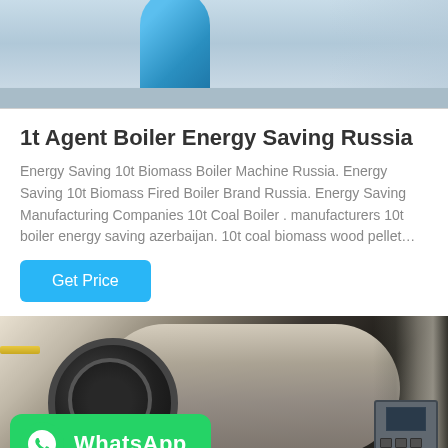[Figure (photo): Industrial boiler equipment photo partially shown at top of page, showing a blue cylindrical tank/vessel in an industrial setting]
1t Agent Boiler Energy Saving Russia
Energy Saving 10t Biomass Boiler Machine Russia. Energy Saving 10t Biomass Fired Boiler Brand Russia. Energy Saving Manufacturing Companies 10t Coal Boiler . manufacturers 10t boiler energy saving azerbaijan. 10t coal biomass wood pellet…
[Figure (other): Get Price button (cyan/blue button)]
[Figure (photo): Industrial boiler machine in factory setting, large cylindrical horizontal boiler with black front face, control panel on right, WhatsApp badge overlaid at bottom left]